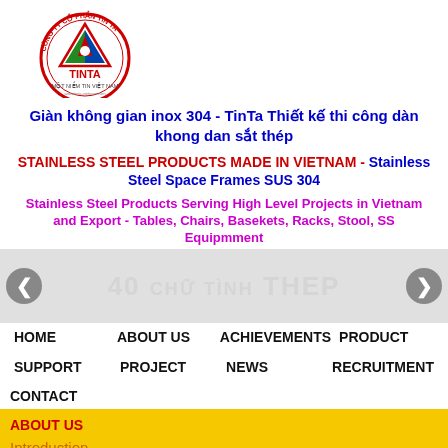[Figure (logo): TinTa company logo - circular badge with red border text 'CÔNG TY CỔ PHẦN TIN TA', triangular geometric graphic in red/green/blue, 'TINTA' text, and 'MỘT NIỀM TIN VIỆT NAM' tagline]
Giàn không gian inox 304 - TinTa Thiết kế thi công dàn khong dan sắt thép
STAINLESS STEEL PRODUCTS MADE IN VIETNAM - Stainless Steel Space Frames SUS 304
Stainless Steel Products Serving High Level Projects in Vietnam and Export - Tables, Chairs, Basekets, Racks, Stool, SS Equipmment
[Figure (screenshot): Image slider area with left and right navigation arrows (grey circles with < and > symbols) and watermark text in background]
HOME
ABOUT US
ACHIEVEMENTS
PRODUCT
SUPPORT
PROJECT
NEWS
RECRUITMENT
CONTACT
ABOUT US
Introduction
Recruitments
Certification